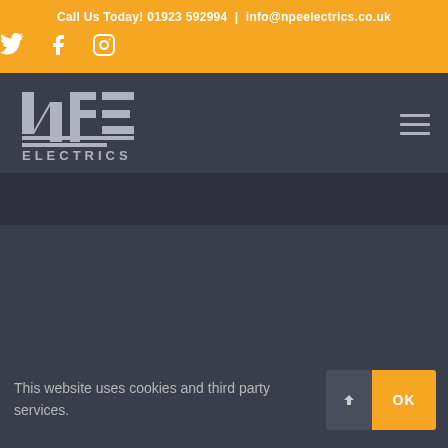Call Us Today! 01923 592994 | info@npeelectrics.co.uk
[Figure (logo): NPE Electrics logo with social media icons (Twitter, Facebook, Instagram) on orange background]
[Figure (logo): NPE Electrics company logo on dark navy background with hamburger menu icon]
This website uses cookies and third party services.